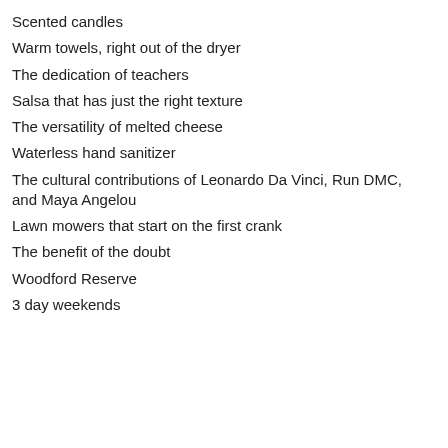Scented candles
Warm towels, right out of the dryer
The dedication of teachers
Salsa that has just the right texture
The versatility of melted cheese
Waterless hand sanitizer
The cultural contributions of Leonardo Da Vinci, Run DMC, and Maya Angelou
Lawn mowers that start on the first crank
The benefit of the doubt
Woodford Reserve
3 day weekends